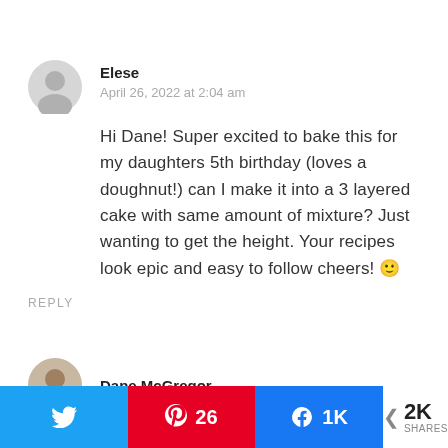Elese
April 26, 2022 at 2:04 am
Hi Dane! Super excited to bake this for my daughters 5th birthday (loves a doughnut!) can I make it into a 3 layered cake with same amount of mixture? Just wanting to get the height. Your recipes look epic and easy to follow cheers! 🙂
REPLY
Dane McGregor